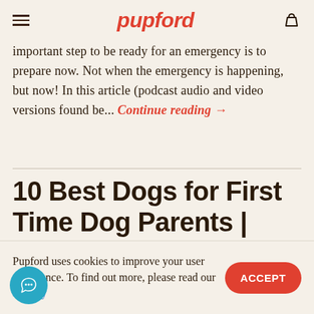pupford
important step to be ready for an emergency is to prepare now. Not when the emergency is happening, but now! In this article (podcast audio and video versions found be... Continue reading →
10 Best Dogs for First Time Dog Parents | Pupford
Pupford uses cookies to improve your user experience. To find out more, please read our Privacy